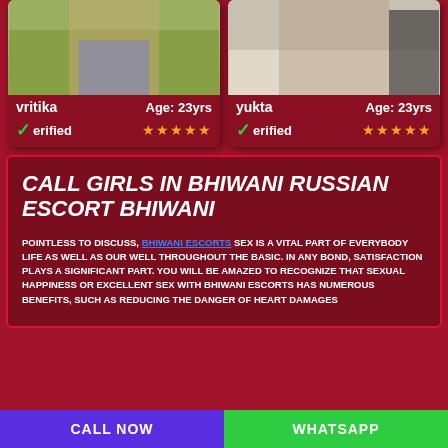[Figure (photo): Profile photo of vritika, partial body shot outdoors with green background]
vritika   Age: 23yrs
✓erified ★★★★★
[Figure (photo): Profile photo of yukta, partial body shot indoors]
yukta   Age: 23yrs
✓erified ★★★★★
CALL GIRLS IN BHIWANI RUSSIAN ESCORT BHIWANI
POINTLESS TO DISCUSS, BHIWANI ESCORTS SEX IS A VITAL PART OF EVERYBODY LIFE AS WELL AS OUR WELL THROUGHOUT THE BASIC. IN ANY BOND, SATISFACTION PLAYS A SIGNIFICANT PART. YOU WILL BE AMAZED TO RECOGNIZE THAT SEXUAL HAPPINESS OR EXCELLENT SEX WITH BHIWANI ESCORTS HAS NUMEROUS BENEFITS, SUCH AS REDUCING THE DANGER OF HEART DAMAGES
CALL NOW
WHATSAPP